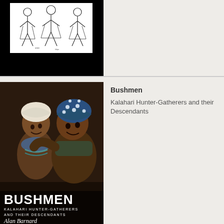[Figure (photo): Book cover of a work by Frank Salomon, black background with a line drawing illustration of figures, author name 'FRANK SALOMON' in white text at bottom]
[Figure (photo): Book cover of 'Bushmen: Kalahari Hunter-Gatherers and their Descendants' by Alan Barnard. Dark photo of two children wearing head coverings. Bold white text 'BUSHMEN' with subtitle 'KALAHARI HUNTER-GATHERERS AND THEIR DESCENDANTS' and author 'Alan Barnard'.]
Bushmen
Kalahari Hunter-Gatherers and their Descendants